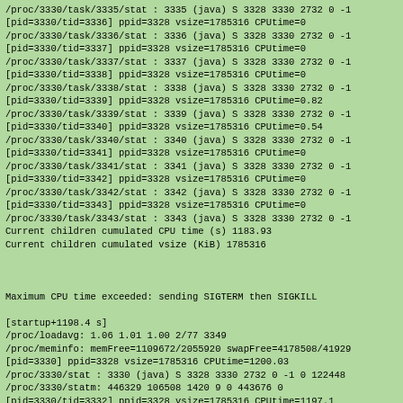/proc/3330/task/3335/stat : 3335 (java) S 3328 3330 2732 0 -1
[pid=3330/tid=3336] ppid=3328 vsize=1785316 CPUtime=0
/proc/3330/task/3336/stat : 3336 (java) S 3328 3330 2732 0 -1
[pid=3330/tid=3337] ppid=3328 vsize=1785316 CPUtime=0
/proc/3330/task/3337/stat : 3337 (java) S 3328 3330 2732 0 -1
[pid=3330/tid=3338] ppid=3328 vsize=1785316 CPUtime=0
/proc/3330/task/3338/stat : 3338 (java) S 3328 3330 2732 0 -1
[pid=3330/tid=3339] ppid=3328 vsize=1785316 CPUtime=0.82
/proc/3330/task/3339/stat : 3339 (java) S 3328 3330 2732 0 -1
[pid=3330/tid=3340] ppid=3328 vsize=1785316 CPUtime=0.54
/proc/3330/task/3340/stat : 3340 (java) S 3328 3330 2732 0 -1
[pid=3330/tid=3341] ppid=3328 vsize=1785316 CPUtime=0
/proc/3330/task/3341/stat : 3341 (java) S 3328 3330 2732 0 -1
[pid=3330/tid=3342] ppid=3328 vsize=1785316 CPUtime=0
/proc/3330/task/3342/stat : 3342 (java) S 3328 3330 2732 0 -1
[pid=3330/tid=3343] ppid=3328 vsize=1785316 CPUtime=0
/proc/3330/task/3343/stat : 3343 (java) S 3328 3330 2732 0 -1
Current children cumulated CPU time (s) 1183.93
Current children cumulated vsize (KiB) 1785316



Maximum CPU time exceeded: sending SIGTERM then SIGKILL

[startup+1198.4 s]
/proc/loadavg: 1.06 1.01 1.00 2/77 3349
/proc/meminfo: memFree=1109672/2055920 swapFree=4178508/41929
[pid=3330] ppid=3328 vsize=1785316 CPUtime=1200.03
/proc/3330/stat : 3330 (java) S 3328 3330 2732 0 -1 0 122448
/proc/3330/statm: 446329 106508 1420 9 0 443676 0
[pid=3330/tid=3332] ppid=3328 vsize=1785316 CPUtime=1197.1
/proc/3330/task/3332/stat : 3332 (java) R 3328 3330 2732 0 -1